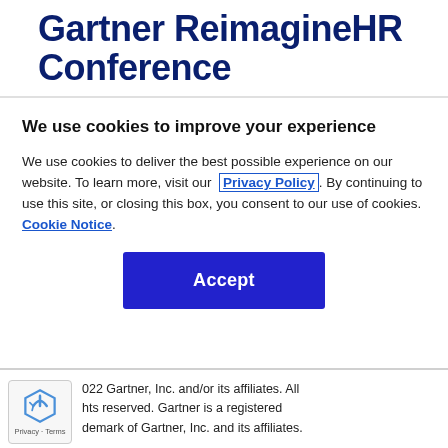Gartner ReimagineHR Conference
We use cookies to improve your experience
We use cookies to deliver the best possible experience on our website. To learn more, visit our  Privacy Policy . By continuing to use this site, or closing this box, you consent to our use of cookies.  Cookie Notice .
Accept
022 Gartner, Inc. and/or its affiliates. All hts reserved. Gartner is a registered demark of Gartner, Inc. and its affiliates.